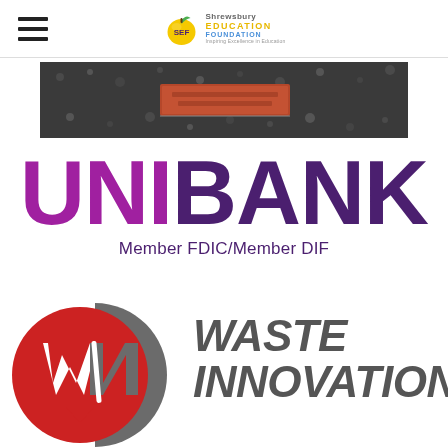[Figure (logo): Shrewsbury Education Foundation (SEF) logo with apple icon and text]
[Figure (photo): Photo of a brick engraved with text, surrounded by dark gravel/mulch]
[Figure (logo): UNIBANK logo in large bold text, UNI in purple and BANK in dark purple, with Member FDIC/Member DIF tagline below]
[Figure (logo): Waste Innovations (WIN) logo with circular red and grey W/N emblem and bold italic WASTE INNOVATIONS text]